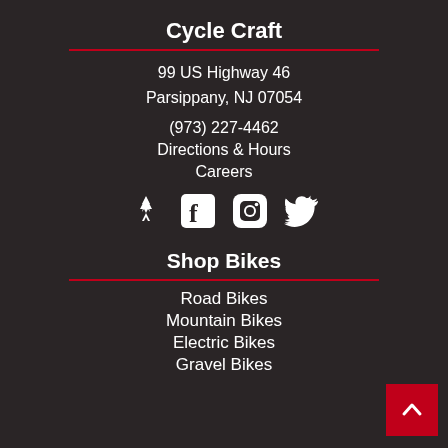Cycle Craft
99 US Highway 46
Parsippany, NJ 07054
(973) 227-4462
Directions & Hours
Careers
[Figure (other): Social media icons: Strava, Facebook, Instagram, Twitter]
Shop Bikes
Road Bikes
Mountain Bikes
Electric Bikes
Gravel Bikes